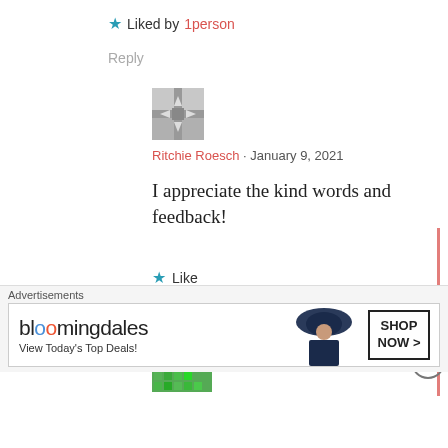★ Liked by 1person
Reply
[Figure (photo): User avatar thumbnail showing a crossroads road sign image]
Ritchie Roesch · January 9, 2021
I appreciate the kind words and feedback!
★ Like
Reply
[Figure (photo): Green pixel/mosaic pattern avatar]
Advertisements
[Figure (other): Bloomingdales advertisement banner: View Today's Top Deals! SHOP NOW >]